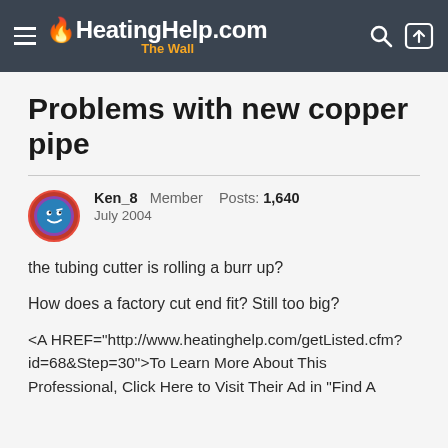HeatingHelp.com The Wall
Problems with new copper pipe
Ken_8   Member   Posts: 1,640
July 2004
the tubing cutter is rolling a burr up?
How does a factory cut end fit? Still too big?
<A HREF="http://www.heatinghelp.com/getListed.cfm?id=68&Step=30">To Learn More About This Professional, Click Here to Visit Their Ad in "Find A